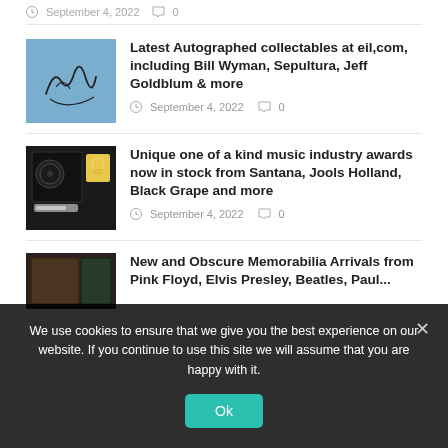September 4, 2022  0
[Figure (photo): Blue background with a handwritten autograph/signature in black ink]
Latest Autographed collectables at eil,com, including Bill Wyman, Sepultura, Jeff Goldblum & more
September 4, 2022  0
[Figure (photo): Framed music industry award on dark background featuring a vinyl record and illustrated face]
Unique one of a kind music industry awards now in stock from Santana, Jools Holland, Black Grape and more
September 4, 2022  0
[Figure (photo): Partial view of memorabilia item on dark background]
New and Obscure Memorabilia Arrivals from Pink Floyd, Elvis Presley, Beatles, Paul...
We use cookies to ensure that we give you the best experience on our website. If you continue to use this site we will assume that you are happy with it.